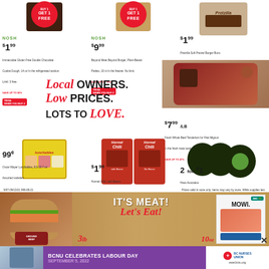[Figure (photo): Immaculate Gluten Free Double Chocolate Cookie Dough with BUY 1 GET 1 FREE badge]
NOSH $1.99 Immaculate Gluten Free Double Chocolate Cookie Dough, 14 oz In the refrigerated section. Limit: 3 free. SAVE UP TO 92%. TR/SA WHEN YOU BUY 2
[Figure (photo): Beyond Meat Beyond Burger Plant-Based Patties with BUY 1 GET 1 FREE badge]
NOSH $9.99 Beyond Meat Beyond Burger, Plant-Based Patties, 10 ct In the freezer. No limit. SAVE UP TO 78%. TR/SA WHEN YOU BUY 2
[Figure (photo): Pretzilla Soft Pretzel Burger Buns product image]
$1.99 Pretzilla Soft Pretzel Burger Buns or Soft Pretzel Sausage Buns, 6 ct SAVE UP TO 68%
Local owners. Low prices. Lots to Love.
[Figure (photo): Fresh Whole Beef Tenderloin / Filet Mignon beef cut on cutting board]
$7.99 /LB Fresh Whole Beef Tenderloin for Filet Mignon In the fresh meat section. SAVE UP TO 47%
[Figure (photo): Oscar Mayer Lunchables assorted varieties package]
99¢ Oscar Mayer Lunchables, 8.9-10.7 oz Assorted varieties In the refrigerated section. SAVE UP TO 79%
[Figure (photo): Two Hormel Chili with Beans and No Beans cans]
$1.99 Hormel Chili, with Beans or No Beans, 15 oz SAVE UP TO 46%
[Figure (photo): Hass Avocados - three whole and one halved showing green flesh]
2 for $1 Hass Avocados SAVE UP TO 80%
9/07-09/13/21 999-08-21          Prices valid in store only. Items may vary by store. While supplies last.
[Figure (photo): IT'S MEAT! Let's Eat! promotional banner with burger, ground beef roll, Mowi salmon fillet, 3lb and 10oz labels]
[Figure (photo): BCNU Celebrates Labour Day September 5, 2022 advertisement with BC Nurses Union logo]